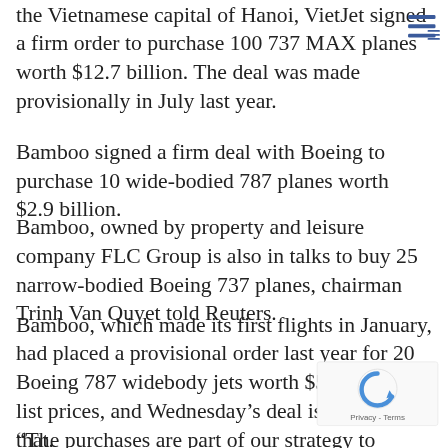the Vietnamese capital of Hanoi, VietJet signed a firm order to purchase 100 737 MAX planes worth $12.7 billion. The deal was made provisionally in July last year.
Bamboo signed a firm deal with Boeing to purchase 10 wide-bodied 787 planes worth $2.9 billion.
Bamboo, owned by property and leisure company FLC Group is also in talks to buy 25 narrow-bodied Boeing 737 planes, chairman Trinh Van Quyet told Reuters.
Bamboo, which made its first flights in January, had placed a provisional order last year for 20 Boeing 787 widebody jets worth $5.6 billion at list prices, and Wednesday’s deal is not part of that.
“The purchases are part of our strategy to expand our operations on the international market, including flying